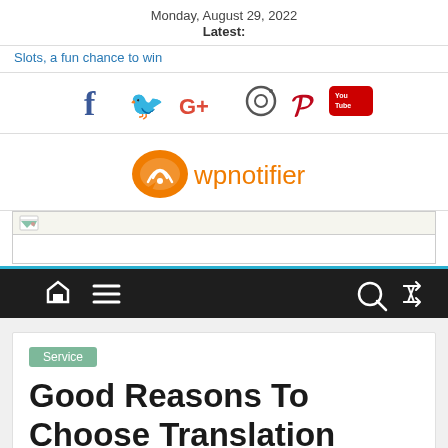Monday, August 29, 2022
Latest:
Slots, a fun chance to win
[Figure (infographic): Social media icons: Facebook (f), Twitter (bird), Google+ (G+), Instagram (camera), Pinterest (P), YouTube (You Tube)]
[Figure (logo): wpnotifier logo: orange speech bubble with wifi signal icon, followed by orange text 'wpnotifier']
[Figure (screenshot): Advertisement/image placeholder area with broken image icon]
[Figure (infographic): Navigation bar with home icon, hamburger menu, search icon, and shuffle icon on dark background]
Service
Good Reasons To Choose Translation Services